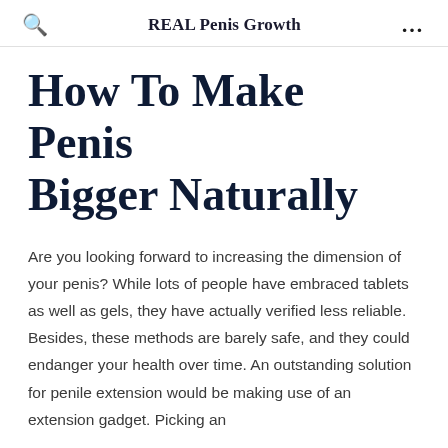REAL Penis Growth
How To Make Penis Bigger Naturally
Are you looking forward to increasing the dimension of your penis? While lots of people have embraced tablets as well as gels, they have actually verified less reliable. Besides, these methods are barely safe, and they could endanger your health over time. An outstanding solution for penile extension would be making use of an extension gadget. Picking an